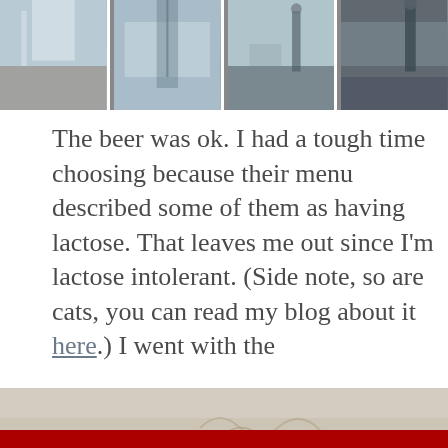[Figure (photo): Photo strip at the top of the page showing multiple panels with outdoor winter scene, trees, street lights, brick building visible through windows]
The beer was ok. I had a tough time choosing because their menu described some of them as having lactose. That leaves me out since I'm lactose intolerant. (Side note, so are cats, you can read my blog about it here.) I went with the [partially obscured text] ...ould ...write
This website uses cookies to ensure you get the best experience on our website.
Learn more
Got it!
[Figure (photo): Bottom partial photo, appears to show an outdoor winter scene]